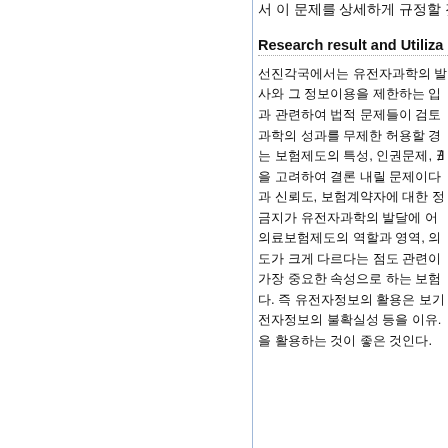서 이 문제를 상세하게 규정할 것
Research result and Utiliza
선진각국에서는 유전자과학의 발달에 따른 유전자검사와 그 정보이용을 제한하는 입법을 시행하고 있다. 이와 관련하여 법적 문제들이 검토되었다. 유전자과학의 성과를 무제한 허용할 경우 야기되는 보험제도의 특성, 인권문제, 유전자정보 등을 고려하여 결론 내릴 문제이다. 보험제도의 특성과 신뢰도, 보험계약자에 대한 정보이용금지가 유전자과학의 발달에 어떠한 영향을 미칠지, 의료보험제도의 역할과 영역, 의료보험의 정도가 크게 다르다는 점도 관련이 있으며, 가장 중요한 속성으로 하는 보험제도이다. 즉 유전자정보의 활용은 보다 유전자정보의 불확실성 등을 이유. 을 활용하는 것이 좋은 것인다.